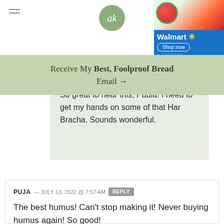ak
[Figure (other): Walmart advertisement banner with watermelon and food product image, Shop now button]
Receive My Best, Foolproof Bread Email →
So great to hear this, Paula! I need to get my hands on some of that Har Bracha. Sounds wonderful.
PUJA — JULY 13, 2022 @ 7:57 AM  REPLY
The best humus! Can't stop making it! Never buying humus again! So good!